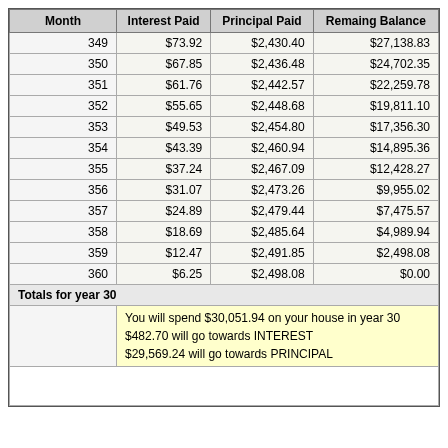| Month | Interest Paid | Principal Paid | Remaing Balance |
| --- | --- | --- | --- |
| 349 | $73.92 | $2,430.40 | $27,138.83 |
| 350 | $67.85 | $2,436.48 | $24,702.35 |
| 351 | $61.76 | $2,442.57 | $22,259.78 |
| 352 | $55.65 | $2,448.68 | $19,811.10 |
| 353 | $49.53 | $2,454.80 | $17,356.30 |
| 354 | $43.39 | $2,460.94 | $14,895.36 |
| 355 | $37.24 | $2,467.09 | $12,428.27 |
| 356 | $31.07 | $2,473.26 | $9,955.02 |
| 357 | $24.89 | $2,479.44 | $7,475.57 |
| 358 | $18.69 | $2,485.64 | $4,989.94 |
| 359 | $12.47 | $2,491.85 | $2,498.08 |
| 360 | $6.25 | $2,498.08 | $0.00 |
Totals for year 30
You will spend $30,051.94 on your house in year 30
$482.70 will go towards INTEREST
$29,569.24 will go towards PRINCIPAL